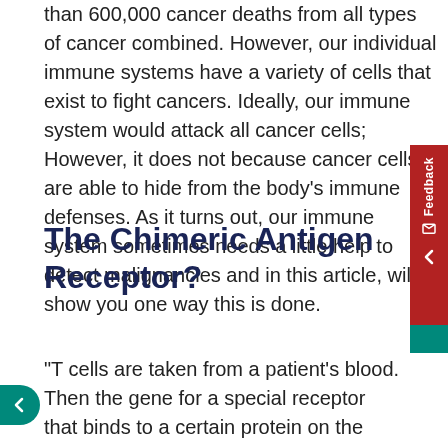than 600,000 cancer deaths from all types of cancer combined. However, our individual immune systems have a variety of cells that exist to fight cancers. Ideally, our immune system would attack all cancer cells; However, it does not because cancer cells are able to hide from the body's immune defenses. As it turns out, our immune system sometimes needs a little help to detect malignancies and in this article, will show you one way this is done.
The Chimeric Antigen Receptor?
“T cells are taken from a patient’s blood. Then the gene for a special receptor that binds to a certain protein on the patient’s cancer cells is added to the T